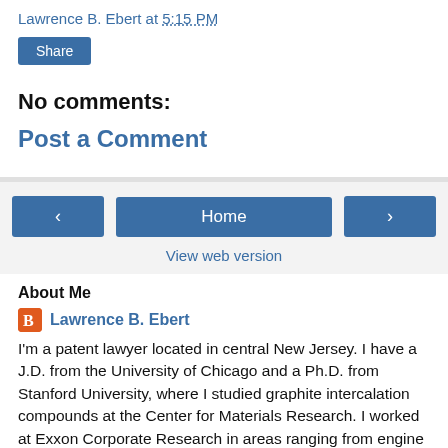Lawrence B. Ebert at 5:15 PM
[Figure (other): Share button (blue rectangle)]
No comments:
Post a Comment
[Figure (other): Navigation bar with left arrow, Home button, right arrow, and View web version link]
About Me
Lawrence B. Ebert
I'm a patent lawyer located in central New Jersey. I have a J.D. from the University of Chicago and a Ph.D. from Stanford University, where I studied graphite intercalation compounds at the Center for Materials Research. I worked at Exxon Corporate Research in areas ranging from engine deposits through coal and petroleum to